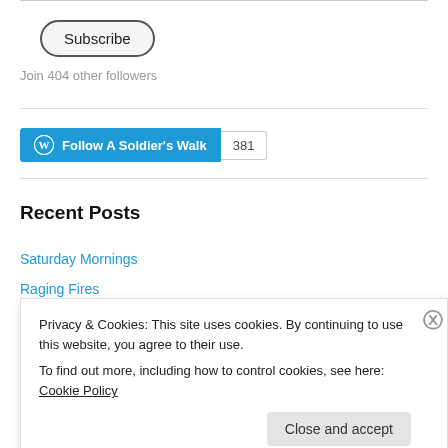[Figure (other): Subscribe button with rounded pill shape border]
Join 404 other followers
[Figure (other): Follow A Soldier's Walk WordPress follow button with count 381]
Recent Posts
Saturday Mornings
Raging Fires
Privacy & Cookies: This site uses cookies. By continuing to use this website, you agree to their use.
To find out more, including how to control cookies, see here: Cookie Policy
Close and accept